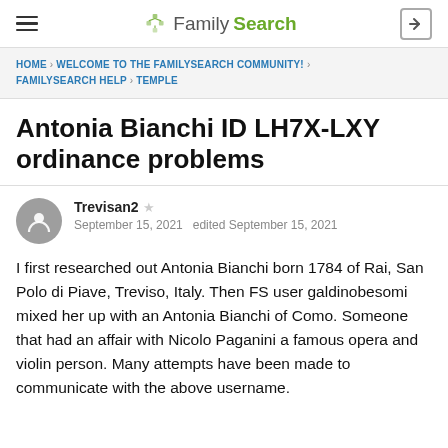FamilySearch
HOME › WELCOME TO THE FAMILYSEARCH COMMUNITY! › FAMILYSEARCH HELP › TEMPLE
Antonia Bianchi ID LH7X-LXY ordinance problems
Trevisan2 ★
September 15, 2021  edited September 15, 2021
I first researched out Antonia Bianchi born 1784 of Rai, San Polo di Piave, Treviso, Italy. Then FS user galdinobesomi mixed her up with an Antonia Bianchi of Como. Someone that had an affair with Nicolo Paganini a famous opera and violin person. Many attempts have been made to communicate with the above username.